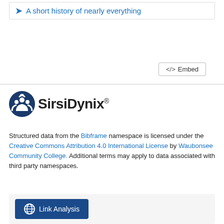A short history of nearly everything
[Figure (screenshot): Embed button with code brackets icon]
[Figure (logo): SirsiDynix logo with circular icon and company name]
Structured data from the Bibframe namespace is licensed under the Creative Commons Attribution 4.0 International License by Waubonsee Community College. Additional terms may apply to data associated with third party namespaces.
[Figure (screenshot): Link Analysis button with globe/network icon]